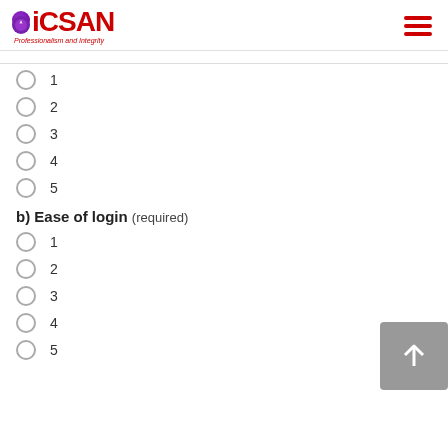ICSAN - Professionalism and Integrity
1
2
3
4
5
b) Ease of login (required)
1
2
3
4
5